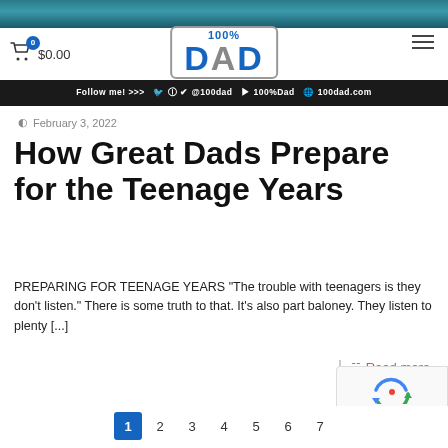[Figure (photo): Top banner image with teal/dark tones, partially visible]
[Figure (logo): 100% DAD logo in blue with grey border box]
[Figure (screenshot): Dark social bar: Follow me! >>> social icons @100dad, 100%Dad, 100dad.com]
February 3, 2022
How Great Dads Prepare for the Teenage Years
PREPARING FOR TEENAGE YEARS “The trouble with teenagers is they don’t listen.” There is some truth to that. It’s also part baloney. They listen to plenty [...]
Read more
[Figure (other): reCAPTCHA badge with Privacy - Terms]
1 2 3 4 5 6 7